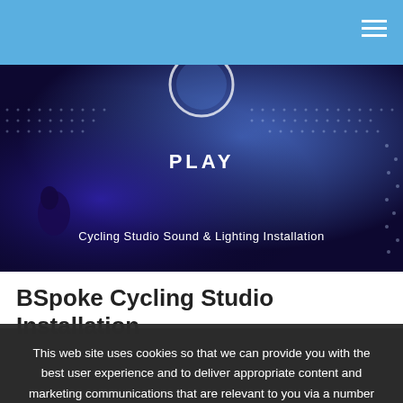Navigation header with hamburger menu
[Figure (photo): Cycling studio with blue/purple lighting, stationary bikes, PLAY text and circle logo, subtitle: Cycling Studio Sound & Lighting Installation]
BSpoke Cycling Studio Installation
This web site uses cookies so that we can provide you with the best user experience and to deliver appropriate content and marketing communications that are relevant to you via a number of mediums.
Accept
More Information